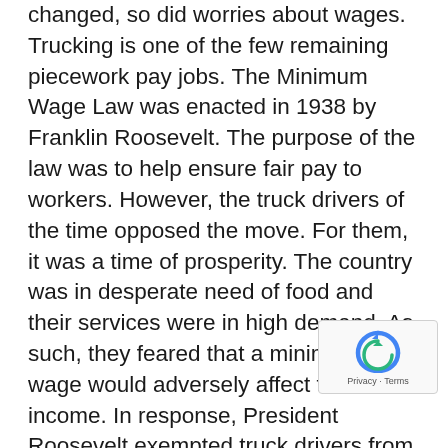changed, so did worries about wages. Trucking is one of the few remaining piecework pay jobs. The Minimum Wage Law was enacted in 1938 by Franklin Roosevelt. The purpose of the law was to help ensure fair pay to workers. However, the truck drivers of the time opposed the move. For them, it was a time of prosperity. The country was in desperate need of food and their services were in high demand. As such, they feared that a minimum wage would adversely affect their income. In response, President Roosevelt exempted truck drivers from the law. Times and regulations change, though. Today, truck drivers face rules that do cap their potential income through the Hours-of-Service Rule. This rule limits the number of hours a driver can work and mandates periods of rest between driving. Yet, truck drivers are still exempted from the